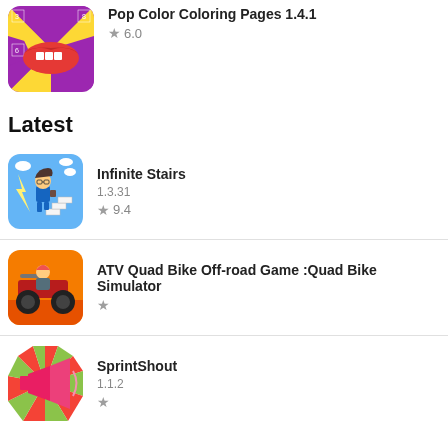[Figure (screenshot): App icon for Pop Color Coloring Pages - lips on purple background with number grid]
Pop Color Coloring Pages 1.4.1
★ 6.0
Latest
[Figure (screenshot): App icon for Infinite Stairs - pixel art character running on stairs with lightning]
Infinite Stairs
1.3.31
★ 9.4
[Figure (screenshot): App icon for ATV Quad Bike Off-road Game - ATV bike in desert]
ATV Quad Bike Off-road Game :Quad Bike Simulator
★
[Figure (screenshot): App icon for SprintShout - pink megaphone with colorful rays]
SprintShout
1.1.2
★